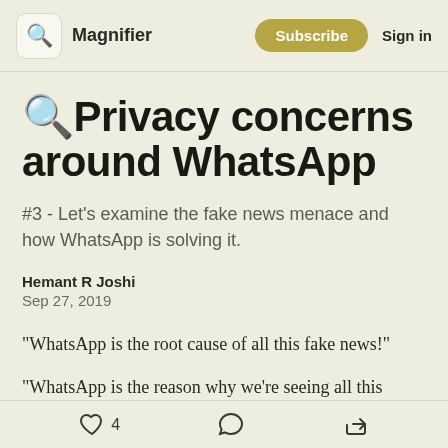Magnifier | Subscribe | Sign in
🔍Privacy concerns around WhatsApp
#3 - Let's examine the fake news menace and how WhatsApp is solving it.
Hemant R Joshi
Sep 27, 2019
“WhatsApp is the root cause of all this fake news!”
“WhatsApp is the reason why we’re seeing all this